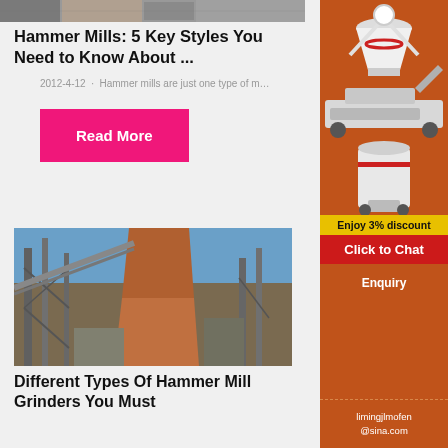[Figure (photo): Top photo strip of hammer mill machinery]
Hammer Mills: 5 Key Styles You Need to Know About ...
2012-4-12  ·  Hammer mills are just one type of m…
Read More
[Figure (photo): Industrial hammer mill grinder facility with large equipment, conveyor belts, and blue sky]
Different Types Of Hammer Mill Grinders You Must
[Figure (infographic): Orange sidebar advertisement showing crusher/mill machinery images, 3% discount offer, Click to Chat button, Enquiry section, and email limingjlmofen@sina.com]